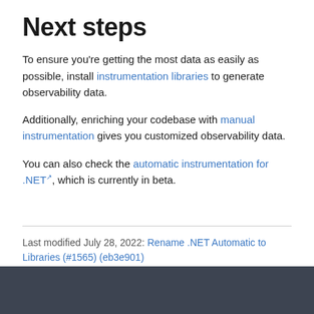Next steps
To ensure you’re getting the most data as easily as possible, install instrumentation libraries to generate observability data.
Additionally, enriching your codebase with manual instrumentation gives you customized observability data.
You can also check the automatic instrumentation for .NET, which is currently in beta.
Last modified July 28, 2022: Rename .NET Automatic to Libraries (#1565) (eb3e901)